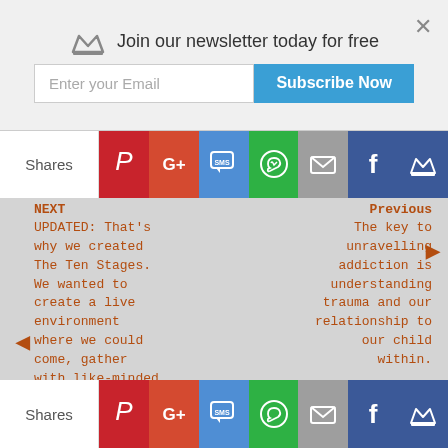Join our newsletter today for free
Enter your Email
Subscribe Now
Shares
NEXT
UPDATED: That's why we created The Ten Stages. We wanted to create a live environment where we could come, gather with like-minded people on our personal growth journey and immerse ourself in The Stages.
Previous
The key to unravelling addiction is understanding trauma and our relationship to our child within.
RELATED POSTS
Shares